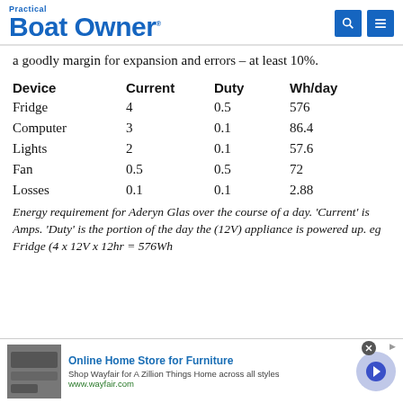Practical Boat Owner
a goodly margin for expansion and errors – at least 10%.
| Device | Current | Duty | Wh/day |
| --- | --- | --- | --- |
| Fridge | 4 | 0.5 | 576 |
| Computer | 3 | 0.1 | 86.4 |
| Lights | 2 | 0.1 | 57.6 |
| Fan | 0.5 | 0.5 | 72 |
| Losses | 0.1 | 0.1 | 2.88 |
Energy requirement for Aderyn Glas over the course of a day. 'Current' is Amps. 'Duty' is the portion of the day the (12V) appliance is powered up. eg Fridge (4 x 12V x 12hr = 576Wh